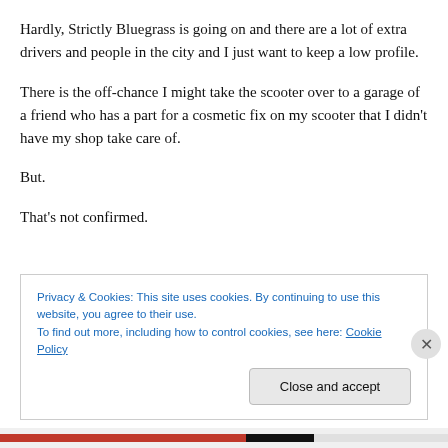Hardly, Strictly Bluegrass is going on and there are a lot of extra drivers and people in the city and I just want to keep a low profile.
There is the off-chance I might take the scooter over to a garage of a friend who has a part for a cosmetic fix on my scooter that I didn't have my shop take care of.
But.
That's not confirmed.
Privacy & Cookies: This site uses cookies. By continuing to use this website, you agree to their use.
To find out more, including how to control cookies, see here: Cookie Policy
Close and accept